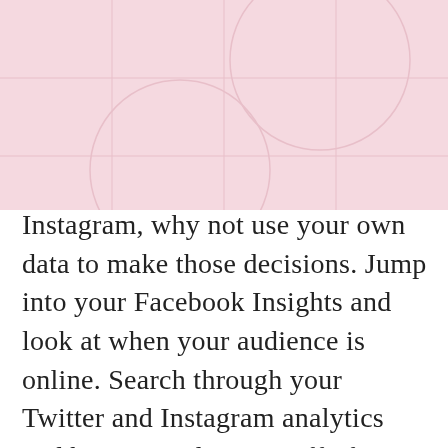[Figure (illustration): Pink background with a grid pattern of thin lines and a faint circular arc/watermark design in the upper portion of the page]
Instagram, why not use your own data to make those decisions. Jump into your Facebook Insights and look at when your audience is online. Search through your Twitter and Instagram analytics and base your decision off of your own data. Find out what is currently working for you right now! As you search through the data, look at the type of content they are engaging with. See if you can draw any conclusions as to a time of day or day of the week when you're getting a greater return on your efforts. We